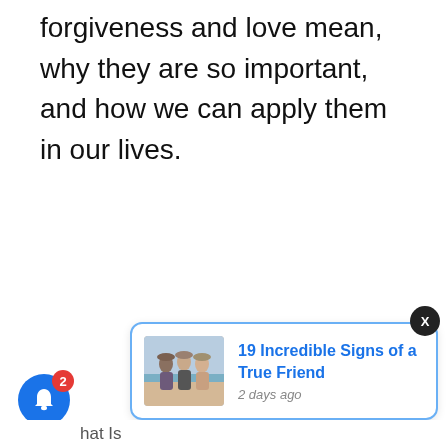forgiveness and love mean, why they are so important, and how we can apply them in our lives.
[Figure (screenshot): Web notification popup showing article '19 Incredible Signs of a True Friend' with thumbnail image of three friends on a beach, posted 2 days ago. A close (X) button appears in the top right of the popup. A blue bell notification button with a red badge showing '2' appears at the bottom left. Partially visible bottom navigation bar shows 'hat Is'.]